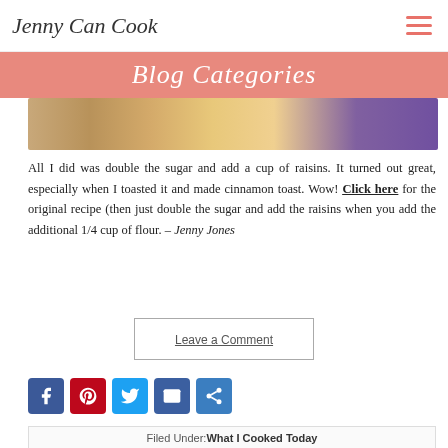Jenny Can Cook
Blog Categories
[Figure (photo): Close-up photo of baked bread with raisins and a purple surface in the background]
All I did was double the sugar and add a cup of raisins. It turned out great, especially when I toasted it and made cinnamon toast. Wow! Click here for the original recipe (then just double the sugar and add the raisins when you add the additional 1/4 cup of flour. – Jenny Jones
Leave a Comment
Filed Under: What I Cooked Today